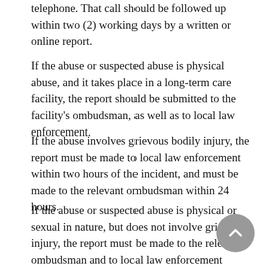telephone. That call should be followed up within two (2) working days by a written or online report.
If the abuse or suspected abuse is physical abuse, and it takes place in a long-term care facility, the report should be submitted to the facility's ombudsman, as well as to local law enforcement.
If the abuse involves grievous bodily injury, the report must be made to local law enforcement within two hours of the incident, and must be made to the relevant ombudsman within 24 hours.
If the abuse or suspected abuse is physical or sexual in nature, but does not involve grievous injury, the report must be made to the relevant ombudsman and to local law enforcement within 24 hours.